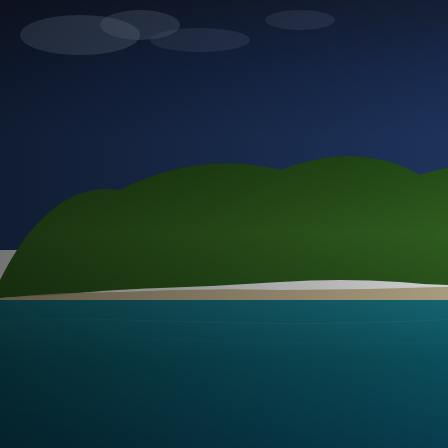[Figure (photo): Tropical island with lush green hillside covered in palm trees, white sandy beach at the waterline, vivid turquoise and blue water in the foreground, blue sky with clouds. Lower portion of the image fades to a gray/dark panel.]
Yanmar engineer out b... problems with starting... at the engine, it was ol...
The other issue we ha... to start and as mentio... allow fuel to feed throu...
We have resolved both... is for us to use the age... expensive on the face...
We also had an occas... of. It turns out that und... had a leaking joint. An... everything after it dried...
At last the weather is w... the past week, and a d... of the Chesapeake, Tu... always go fast on a be... the skippers of the oth... will sail fast, and she d...